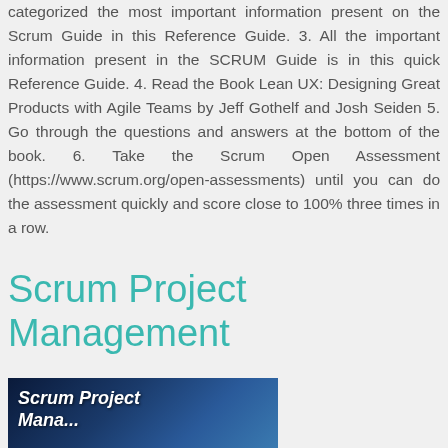categorized the most important information present on the Scrum Guide in this Reference Guide. 3. All the important information present in the SCRUM Guide is in this quick Reference Guide. 4. Read the Book Lean UX: Designing Great Products with Agile Teams by Jeff Gothelf and Josh Seiden 5. Go through the questions and answers at the bottom of the book. 6. Take the Scrum Open Assessment (https://www.scrum.org/open-assessments) until you can do the assessment quickly and score close to 100% three times in a row.
Scrum Project Management
[Figure (photo): Book cover image showing 'Scrum Project Management' text on a dark blue background]